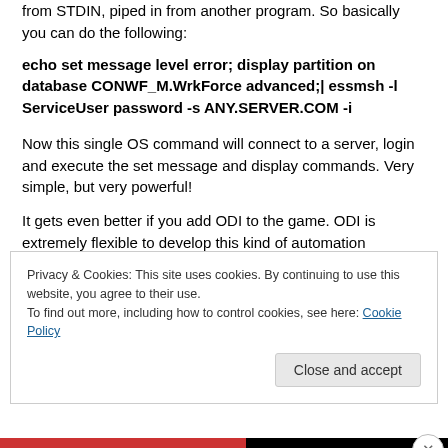from STDIN, piped in from another program. So basically you can do the following:
echo set message level error; display partition on database CONWF_M.WrkForce advanced;| essmsh -l ServiceUser password -s ANY.SERVER.COM -i
Now this single OS command will connect to a server, login and execute the set message and display commands. Very simple, but very powerful!
It gets even better if you add ODI to the game. ODI is extremely flexible to develop this kind of automation
Privacy & Cookies: This site uses cookies. By continuing to use this website, you agree to their use.
To find out more, including how to control cookies, see here: Cookie Policy
Close and accept